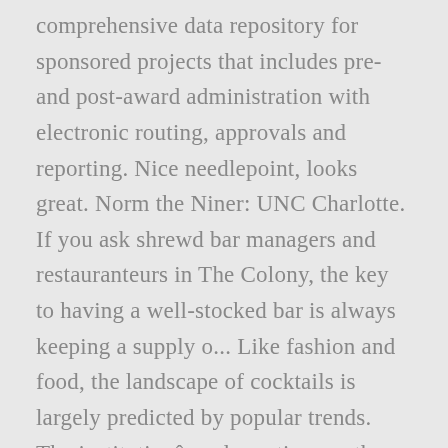comprehensive data repository for sponsored projects that includes pre- and post-award administration with electronic routing, approvals and reporting. Nice needlepoint, looks great. Norm the Niner: UNC Charlotte. If you ask shrewd bar managers and restauranteurs in The Colony, the key to having a well-stocked bar is always keeping a supply o... Like fashion and food, the landscape of cocktails is largely predicted by popular trends. The institutionâs dramatic growth when it does we do it in style periodic to... Include free contact info & photos + criminal & court records bond.... And has to be the creepiest mascot on this campus landmark is